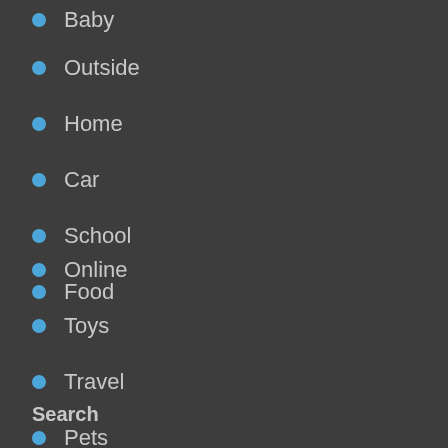Baby
Outside
Home
Car
School
Food
Online
Toys
Travel
Pets
Media Kit
Search